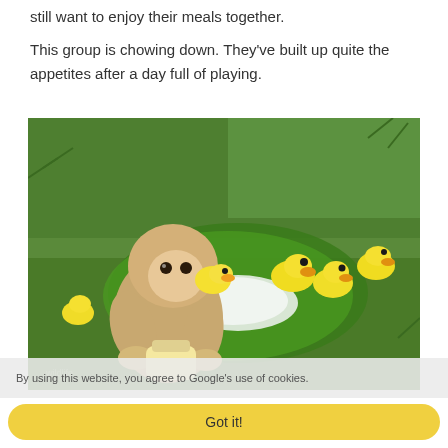still want to enjoy their meals together.
This group is chowing down. They've built up quite the appetites after a day full of playing.
[Figure (photo): A baby monkey holding a milk bottle sitting on green grass with several yellow ducklings around it on a large green leaf.]
By using this website, you agree to Google's use of cookies.
Got it!
We know the ducks can't climb up trees, but